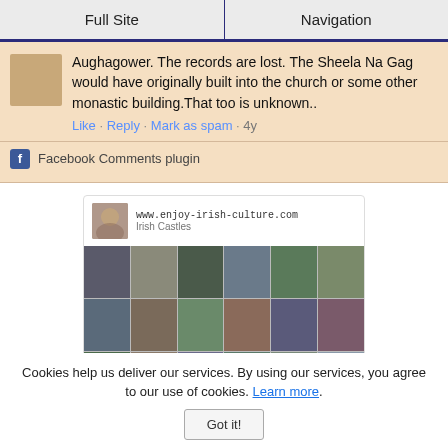Full Site | Navigation
Aughagower. The records are lost. The Sheela Na Gag would have originally built into the church or some other monastic building.That too is unknown..
Like · Reply · Mark as spam · 4y
Facebook Comments plugin
[Figure (screenshot): Pinterest card showing www.enjoy-irish-culture.com / Irish Castles with a grid of castle photos and a 'See On Pinterest' button]
Cookies help us deliver our services. By using our services, you agree to our use of cookies. Learn more.
Got it!